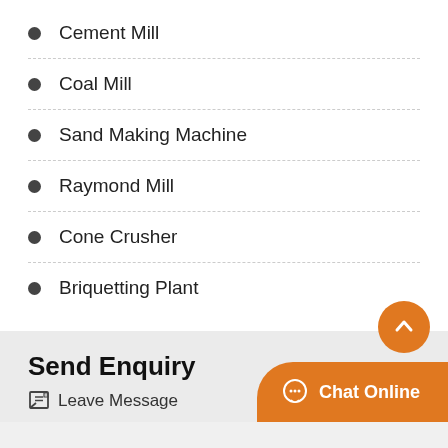Cement Mill
Coal Mill
Sand Making Machine
Raymond Mill
Cone Crusher
Briquetting Plant
Send Enquiry
Leave Message
Chat Online